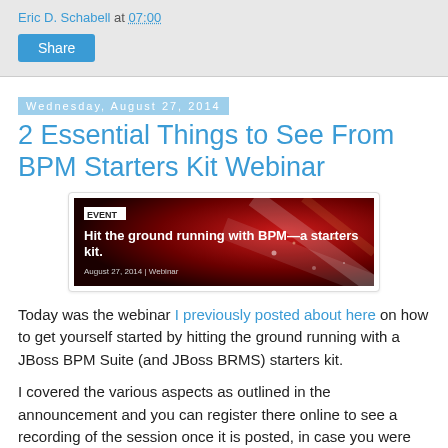Eric D. Schabell at 07:00
Share
Wednesday, August 27, 2014
2 Essential Things to See From BPM Starters Kit Webinar
[Figure (illustration): Event banner image: 'Hit the ground running with BPM—a starters kit. August 27, 2014 | Webinar' with red dramatic background]
Today was the webinar I previously posted about here on how to get yourself started by hitting the ground running with a JBoss BPM Suite (and JBoss BRMS) starters kit.
I covered the various aspects as outlined in the announcement and you can register there online to see a recording of the session once it is posted, in case you were unable to attend.